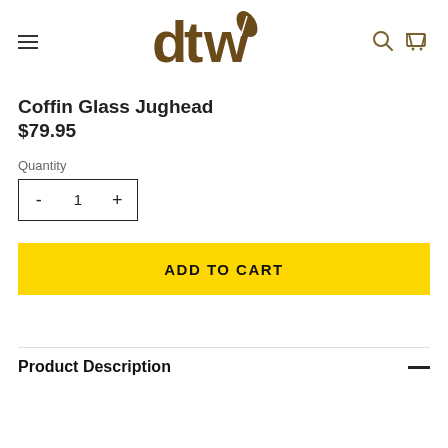dtw logo with navigation icons
Coffin Glass Jughead
$79.95
Quantity
- 1 +
ADD TO CART
Product Description